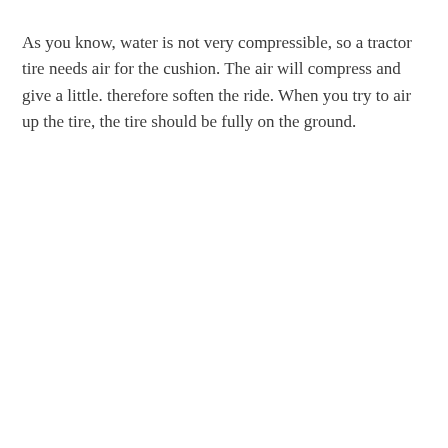As you know, water is not very compressible, so a tractor tire needs air for the cushion. The air will compress and give a little. therefore soften the ride. When you try to air up the tire, the tire should be fully on the ground.